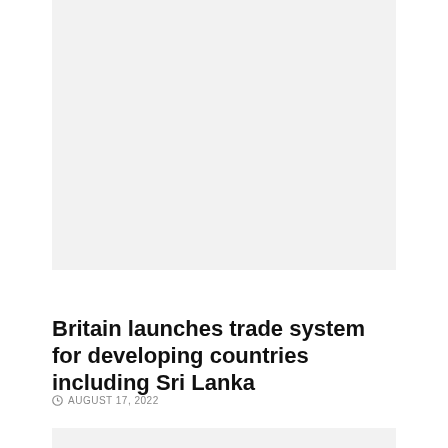[Figure (photo): Large image placeholder at top of article (light gray background)]
AROUND SOUTH ASIA
Britain launches trade system for developing countries including Sri Lanka
AUGUST 17, 2022
[Figure (photo): Small image placeholder at bottom of page (light gray background)]